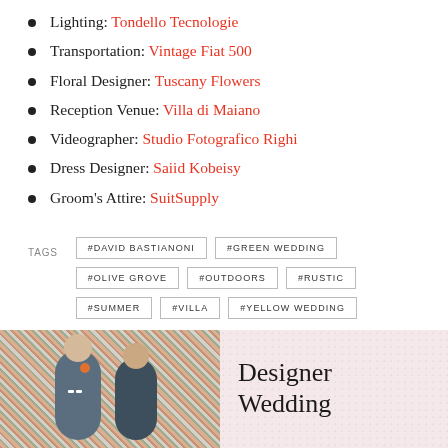Lighting: Tondello Tecnologie
Transportation: Vintage Fiat 500
Floral Designer: Tuscany Flowers
Reception Venue: Villa di Maiano
Videographer: Studio Fotografico Righi
Dress Designer: Saiid Kobeisy
Groom's Attire: SuitSupply
TAGS  #DAVID BASTIANONI  #GREEN WEDDING  #OLIVE GROVE  #OUTDOORS  #RUSTIC  #SUMMER  #VILLA  #YELLOW WEDDING
[Figure (photo): Couple in front of floral background with 'Designer Wedding' text overlay on pink background]